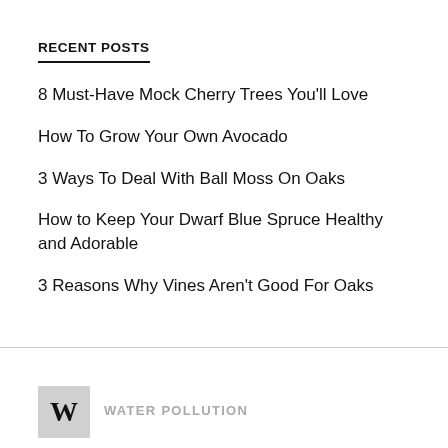RECENT POSTS
8 Must-Have Mock Cherry Trees You'll Love
How To Grow Your Own Avocado
3 Ways To Deal With Ball Moss On Oaks
How to Keep Your Dwarf Blue Spruce Healthy and Adorable
3 Reasons Why Vines Aren't Good For Oaks
W  WATER POLLUTION